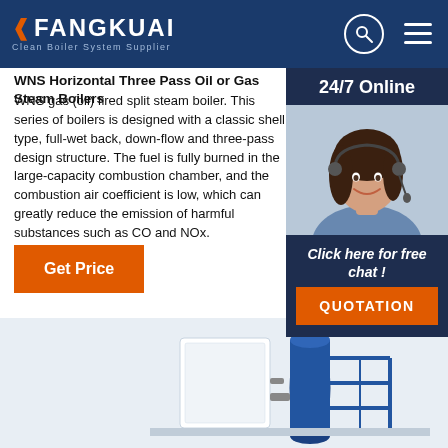FANGKUAI — Clean Boiler System Supplier
WNS Horizontal Three Pass Oil or Gas Steam Boilers
WNS gas (oil) fired split steam boiler. This series of boilers is designed with a classic shell type, full-wet back, down-flow and three-pass design structure. The fuel is fully burned in the large-capacity combustion chamber, and the combustion air coefficient is low, which can greatly reduce the emission of harmful substances such as CO and NOx.
Get Price
24/7 Online
Click here for free chat !
QUOTATION
[Figure (photo): Customer service agent woman wearing headset, smiling]
[Figure (illustration): TOP button with dots forming triangle above text]
[Figure (photo): WNS horizontal steam boiler industrial equipment photo]